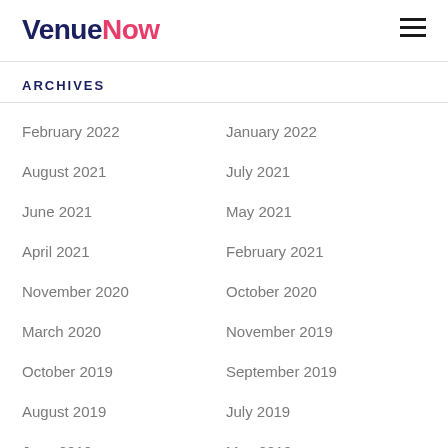VenueNow
ARCHIVES
February 2022
January 2022
August 2021
July 2021
June 2021
May 2021
April 2021
February 2021
November 2020
October 2020
March 2020
November 2019
October 2019
September 2019
August 2019
July 2019
June 2019
May 2019
April 2019
March 2019